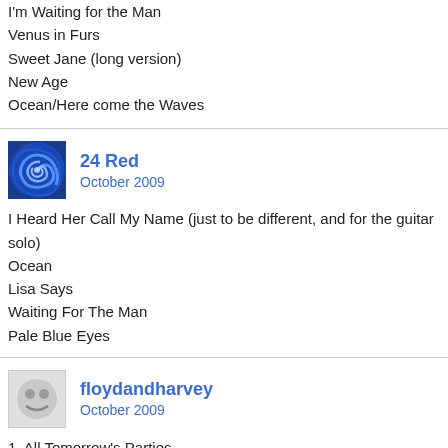I'm Waiting for the Man
Venus in Furs
Sweet Jane (long version)
New Age
Ocean/Here come the Waves
24 Red
October 2009
I Heard Her Call My Name (just to be different, and for the guitar solo)
Ocean
Lisa Says
Waiting For The Man
Pale Blue Eyes
floydandharvey
October 2009
1. All Tomorrow's Parties
2. I'm Sticking With You
3. The Murder Mystery
4. After Hours